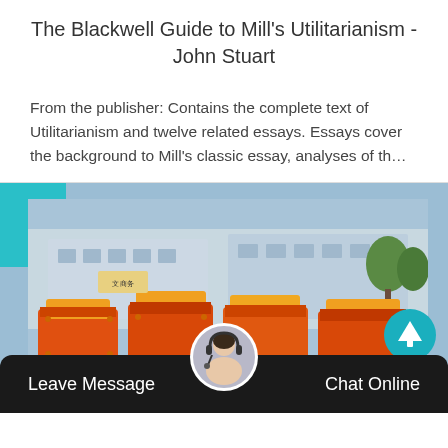The Blackwell Guide to Mill's Utilitarianism - John Stuart
From the publisher: Contains the complete text of Utilitarianism and twelve related essays. Essays cover the background to Mill's classic essay, analyses of th…
[Figure (photo): Orange heavy machinery/industrial equipment lined up in a row, with a building and trees in the background. A teal/cyan decorative block overlaps the top-left corner. A circular up-arrow navigation button is visible at the lower right of the image.]
Leave Message    Chat Online